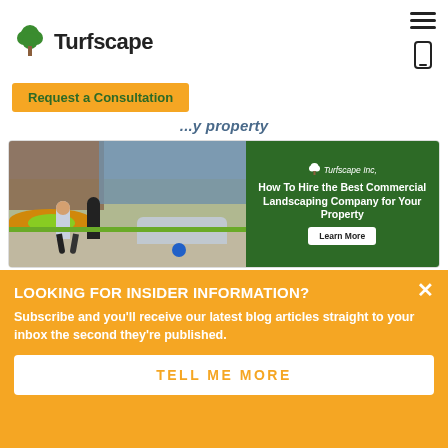Turfscape
Request a Consultation
How To Hire the Best Commercial Landscaping Company for Your Property
[Figure (photo): Two men walking in a commercial property parking lot with landscaping visible, alongside a green panel with Turfscape Inc. branding, text 'How To Hire the Best Commercial Landscaping Company for Your Property' and a 'Learn More' button]
LOOKING FOR INSIDER INFORMATION?
Subscribe and you'll receive our latest blog articles straight to your inbox the second they're published.
TELL ME MORE